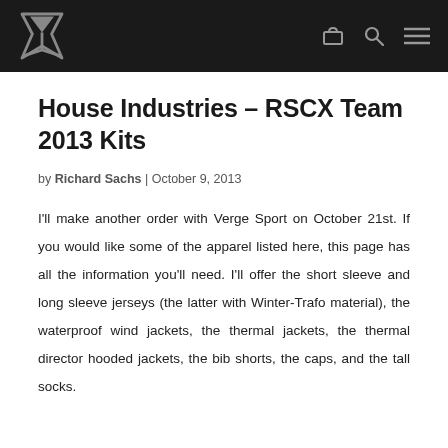House Industries – RSCX Team 2013 Kits [site header with logo and navigation icons]
House Industries – RSCX Team 2013 Kits
by Richard Sachs | October 9, 2013
I'll make another order with Verge Sport on October 21st. If you would like some of the apparel listed here, this page has all the information you'll need. I'll offer the short sleeve and long sleeve jerseys (the latter with Winter-Trafo material), the waterproof wind jackets, the thermal jackets, the thermal director hooded jackets, the bib shorts, the caps, and the tall socks.